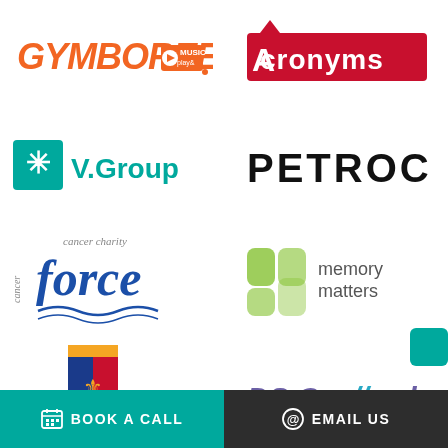[Figure (logo): Gymboree Play & Music logo in orange]
[Figure (logo): Acronyms logo - white text on red background]
[Figure (logo): V.Group logo with teal star/asterisk icon]
[Figure (logo): PETROC logo in bold black text]
[Figure (logo): Cancer Charity Force logo in blue italic with wave]
[Figure (logo): Memory Matters logo with green M icon]
[Figure (logo): Newton Abbot RFC crest with shield]
[Figure (logo): DSCallards logo in purple/teal italic]
BOOK A CALL
EMAIL US